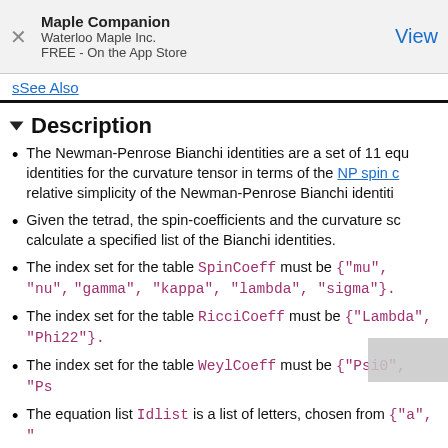[Figure (other): App Store advertisement banner: Maple Companion by Waterloo Maple Inc., FREE - On the App Store, with a View button]
sSee Also
Description
The Newman-Penrose Bianchi identities are a set of 11 equations giving identities for the curvature tensor in terms of the NP spin coefficients. The relative simplicity of the Newman-Penrose Bianchi identities...
Given the tetrad, the spin-coefficients and the curvature scalars, calculate a specified list of the Bianchi identities.
The index set for the table SpinCoeff must be {"mu", "nu", ..., "gamma", "kappa", "lambda", "sigma"}.
The index set for the table RicciCoeff must be {"Lambda", ..., "Phi22"}.
The index set for the table WeylCoeff must be {"Psi0", "Ps...
The equation list Idlist is a list of letters, chosen from {"a", "...